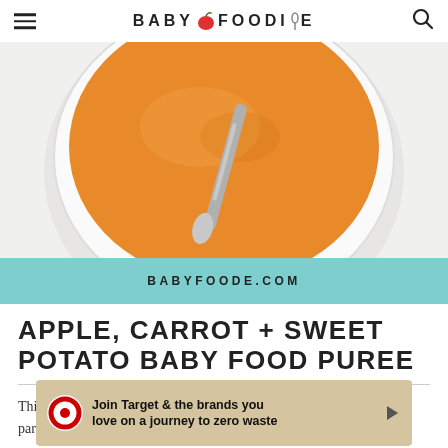Baby Foodie
[Figure (photo): Top-down view of a white bowl containing orange puree (apple, carrot, sweet potato) with a silver spoon resting across it, on a white background.]
BABYFOODE.COM
APPLE, CARROT + SWEET POTATO BABY FOOD PUREE
This amazingly delicious and easy to make puree is part of
[Figure (other): Advertisement banner: Target zero waste campaign. Shows Target bullseye logo, 'zero' brand logo, text 'Join Target & the brands you love on a journey to zero waste', and play button icon.]